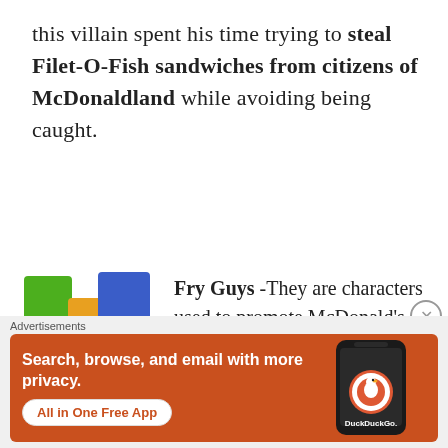this villain spent his time trying to steal Filet-O-Fish sandwiches from citizens of McDonaldland while avoiding being caught.
[Figure (illustration): Colorful cartoon Fry Guys characters - green, orange, and blue/purple block-shaped figures with eyes, rendered in a simple blocky style]
Fry Guys -They are characters used to promote McDonald's
[Figure (screenshot): DuckDuckGo advertisement banner with orange background showing phone mockup and text: Search, browse, and email with more privacy. All in One Free App. DuckDuckGo logo.]